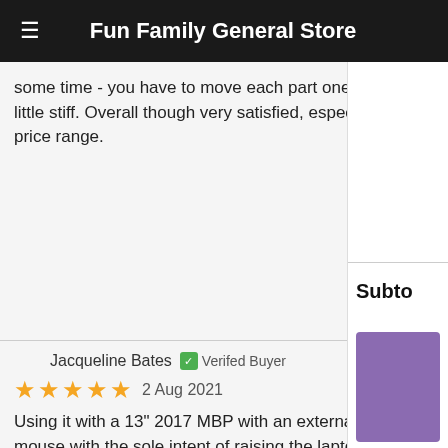Fun Family General Store
some time - you have to move each part one by one little stiff. Overall though very satisfied, especially w price range.
Jacqueline Bates  Verifed Buyer
2 Aug 2021
Using it with a 13" 2017 MBP with an external keyb mouse with the sole intent of raising the laptop scr more comfortable viewing level. And as a side bene the front camera to just a tad below eye level for b
Subto